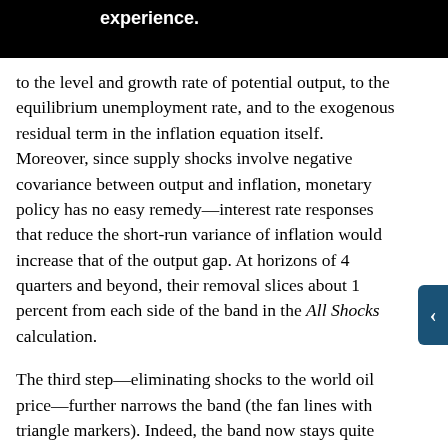with [text obscured] experience. [text obscured] tly on th[e] [text obscured] ges to the level and growth rate of potential output, to the equilibrium unemployment rate, and to the exogenous residual term in the inflation equation itself. Moreover, since supply shocks involve negative covariance between output and inflation, monetary policy has no easy remedy—interest rate responses that reduce the short-run variance of inflation would increase that of the output gap. At horizons of 4 quarters and beyond, their removal slices about 1 percent from each side of the band in the All Shocks calculation.
The third step—eliminating shocks to the world oil price—further narrows the band (the fan lines with triangle markers). Indeed, the band now stays quite close to the central line. This means that, in the model, the latter 2 shocks account for almost all of the risk to the inflation forecast; the remaining source of variance—U.S. demand shocks—therefore makes only a small contribution to the confidence interval. This result is consistent with the intent of the monetary policy rule, which is to dampen disturbances to the inflation rate